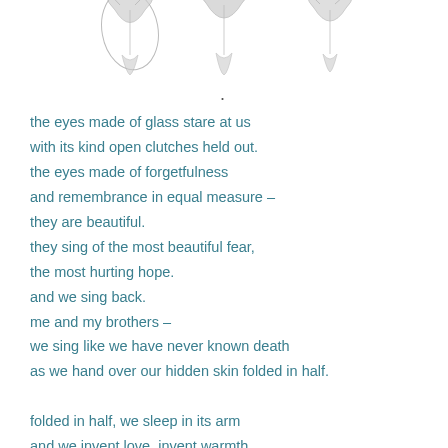[Figure (illustration): Three sketched bird or creature wing/hand shapes at the top of the page, drawn in pencil style in grey tones]
the eyes made of glass stare at us
with its kind open clutches held out.
the eyes made of forgetfulness
and remembrance in equal measure –
they are beautiful.
they sing of the most beautiful fear,
the most hurting hope.
and we sing back.
me and my brothers –
we sing like we have never known death
as we hand over our hidden skin folded in half.

folded in half, we sleep in its arm
and we invent love, invent warmth,
invent meaning.